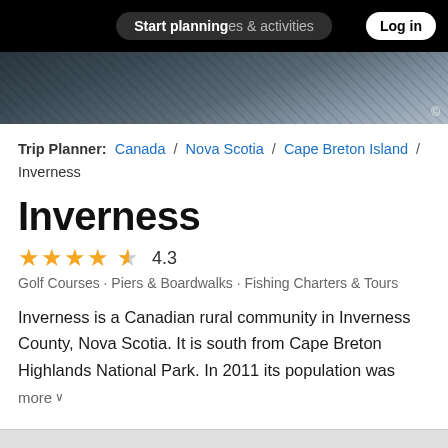Start planning places & activities  Log in
[Figure (photo): Hero landscape photograph showing rocky coastal scenery, dark tones]
Trip Planner: Canada / Nova Scotia / Cape Breton Island / Inverness
Inverness
★★★★½  4.3
Golf Courses · Piers & Boardwalks · Fishing Charters & Tours
Inverness is a Canadian rural community in Inverness County, Nova Scotia. It is south from Cape Breton Highlands National Park. In 2011 its population was
more ∨